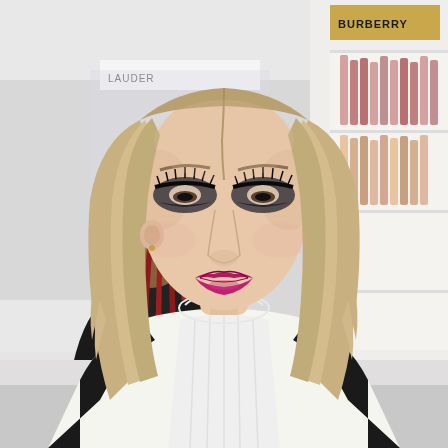[Figure (photo): A woman with blonde shoulder-length hair, wearing smoky eye makeup and bold pink-red lipstick, dressed in a white blouse with a black vest/pinafore, looking down. She is in what appears to be a department store cosmetics section. In the background, another person with long red braided hair wearing a black outfit stands with their back to the camera near Estee Lauder and Burberry beauty counters.]